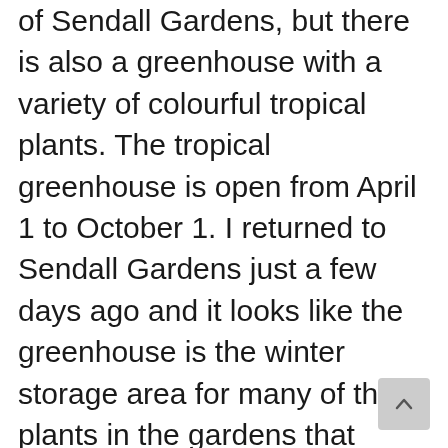of Sendall Gardens, but there is also a greenhouse with a variety of colourful tropical plants. The tropical greenhouse is open from April 1 to October 1. I returned to Sendall Gardens just a few days ago and it looks like the greenhouse is the winter storage area for many of the plants in the gardens that wouldn't be able to overwinter on their own. The aforementioned Elephant Ears plant is one of those plants. The greenhouse isn't very large, but despite that I did photograph in it for over an hour. The only thing I wish for the greenhouse would be more labels for the variety of plants growing there. I was able to identify some of them, but many remain a mystery. Among these mysteries are the unknown plant above with some water drops on its leaves.